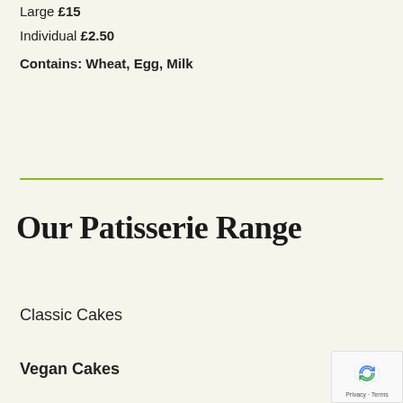Large £15
Individual £2.50
Contains: Wheat, Egg, Milk
Our Patisserie Range
Classic Cakes
Vegan Cakes